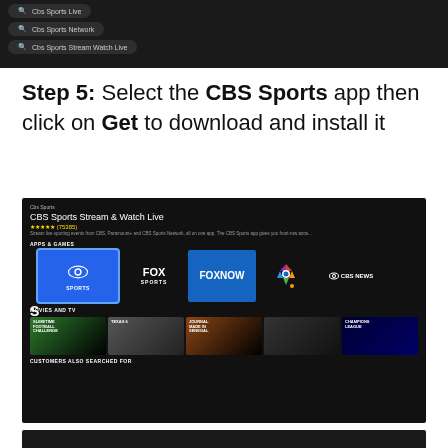[Figure (screenshot): Dark TV app interface showing search suggestions: Cbs Sports Live, Cbs Sports Network, Cbs Sports Stream Watch Live]
Step 5: Select the CBS Sports app then click on Get to download and install it
[Figure (screenshot): Amazon Fire TV / streaming device app store showing CBS Sports Stream & Watch Live app page, with app tiles including CBS Sports (selected/highlighted in blue), FOX Sports, FOXNOW, NBC, CBS News. Below are Movies and TV tiles including Slimetime, Texas 6, Made In Senegal, and Champions League. Customers Also Searched For section at bottom.]
[Figure (screenshot): Partial dark screenshot at bottom of page]